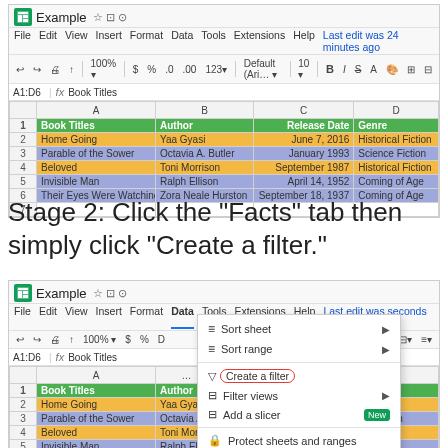[Figure (screenshot): Google Sheets spreadsheet showing a table with columns: Book Titles, Author, Release Date, Genre. Rows include Home Going, Parable of the Sower, Beloved, Invisible Man, Their Eyes Were Watching God. Rows are alternately colored orange and blue/purple. Header row is green.]
Stage 2: Click the “Facts” tab then simply click “Create a filter.”
[Figure (screenshot): Google Sheets with Data menu open showing options: Sort sheet, Sort range, Create a filter (circled in red), Filter views, Add a slicer (with New badge), Protect sheets and ranges, Named ranges, Randomize range. The spreadsheet shows the same book data partially visible behind the menu.]